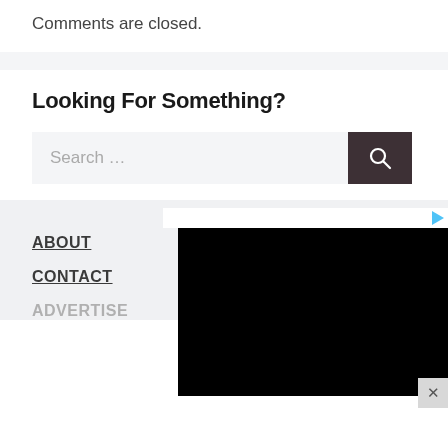Comments are closed.
Looking For Something?
Search ...
ABOUT
CONTACT
ADVERTISE
[Figure (screenshot): Black rectangle ad overlay with a TrueView icon in top-right corner and a close (X) button in bottom-right corner]